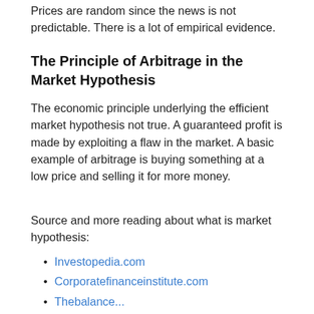Prices are random since the news is not predictable. There is a lot of empirical evidence.
The Principle of Arbitrage in the Market Hypothesis
The economic principle underlying the efficient market hypothesis not true. A guaranteed profit is made by exploiting a flaw in the market. A basic example of arbitrage is buying something at a low price and selling it for more money.
Source and more reading about what is market hypothesis:
Investopedia.com
Corporatefinanceinstitute.com
Thebalance...